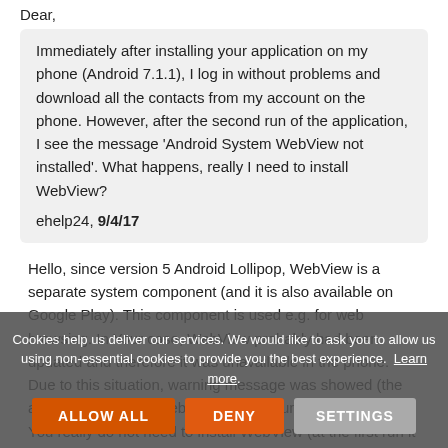Dear,
Immediately after installing your application on my phone (Android 7.1.1), I log in without problems and download all the contacts from my account on the phone. However, after the second run of the application, I see the message 'Android System WebView not installed'. What happens, really I need to install WebView?
ehelp24, 9/4/17
Hello, since version 5 Android Lollipop, WebView is a separate system component (and it is also available on Google Play). This component is used e.g. for web browsing. In Your case, WebView probably had been updated and therefore it was unavailable in the phone. Due to this situation, warning message was showed (the application without WebView can not run). You really do not need to install WebView (at the first run it was ok, so the message appears at every launch of app, please contact us again.
Cookies help us deliver our services. We would like to ask you to allow us using non-essential cookies to provide you the best experience. Learn more.